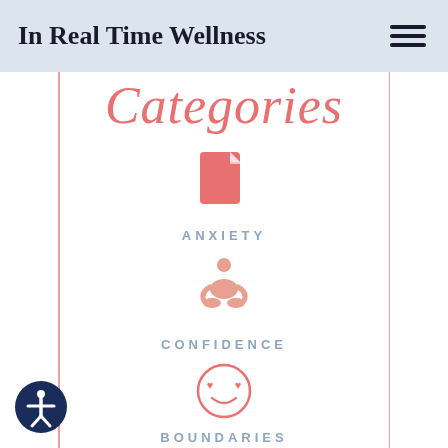In Real Time Wellness
Categories
ANXIETY
CONFIDENCE
BOUNDARIES